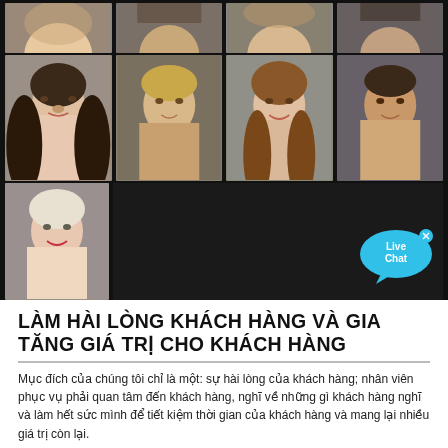[Figure (photo): Grid of portrait photos of diverse people (men and women) arranged in 3 rows: top row partially cropped showing 4 faces, second row showing 4 full portrait photos, third row showing 1 portrait photo on the left with a Live Chat bubble on the right]
LÀM HÀI LÒNG KHÁCH HÀNG VÀ GIA TĂNG GIÁ TRỊ CHO KHÁCH HÀNG
Mục đích của chúng tôi chỉ là một: sự hài lòng của khách hàng; nhân viên phục vụ phải quan tâm đến khách hàng, nghĩ về những gì khách hàng nghĩ và làm hết sức mình để tiết kiệm thời gian của khách hàng và mang lại nhiều giá trị còn lại.